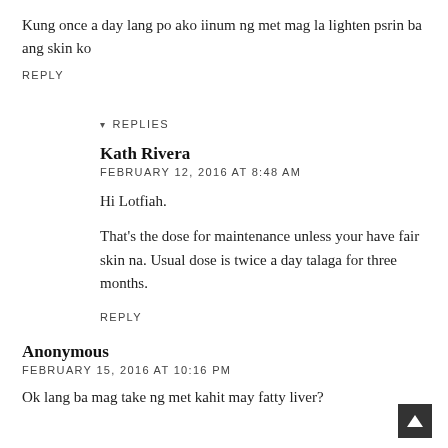Kung once a day lang po ako iinum ng met mag la lighten psrin ba ang skin ko
REPLY
▾ REPLIES
Kath Rivera
FEBRUARY 12, 2016 AT 8:48 AM
Hi Lotfiah.
That's the dose for maintenance unless your have fair skin na. Usual dose is twice a day talaga for three months.
REPLY
Anonymous
FEBRUARY 15, 2016 AT 10:16 PM
Ok lang ba mag take ng met kahit may fatty liver?